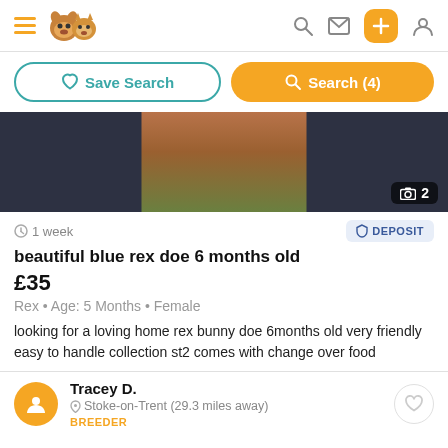Pet listing app header with hamburger menu, logo, search, message, add, and profile icons
Save Search | Search (4)
[Figure (photo): Listing photo of a rabbit, partially visible, brown/wood-toned background with dark surroundings. Photo count badge shows camera icon and 2.]
1 week
DEPOSIT
beautiful blue rex doe 6 months old
£35
Rex • Age: 5 Months • Female
looking for a loving home rex bunny doe 6months old very friendly easy to handle collection st2 comes with change over food
Tracey D.
Stoke-on-Trent (29.3 miles away)
BREEDER